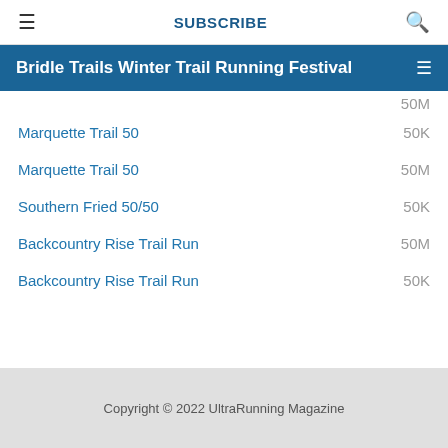≡  SUBSCRIBE  🔍
Bridle Trails Winter Trail Running Festival
50M (partial, top cut off)
Marquette Trail 50  50K
Marquette Trail 50  50M
Southern Fried 50/50  50K
Backcountry Rise Trail Run  50M
Backcountry Rise Trail Run  50K
Copyright © 2022 UltraRunning Magazine